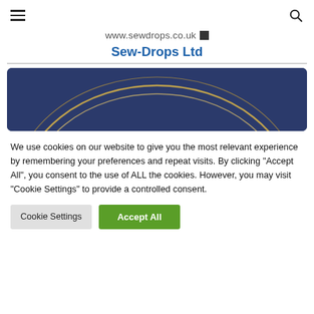≡  [search icon]
www.sewdrops.co.uk
Sew-Drops Ltd
[Figure (illustration): Dark navy blue banner with a gold arc/thread arc decorative element, partially visible at bottom]
We use cookies on our website to give you the most relevant experience by remembering your preferences and repeat visits. By clicking "Accept All", you consent to the use of ALL the cookies. However, you may visit "Cookie Settings" to provide a controlled consent.
Cookie Settings    Accept All